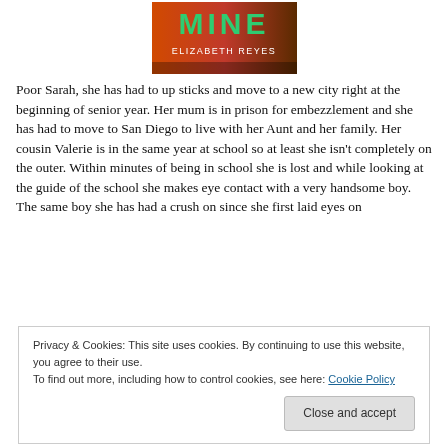[Figure (illustration): Book cover for 'Mine' by Elizabeth Reyes — partial view showing the title and author name on a stylized cover]
Poor Sarah, she has had to up sticks and move to a new city right at the beginning of senior year. Her mum is in prison for embezzlement and she has had to move to San Diego to live with her Aunt and her family. Her cousin Valerie is in the same year at school so at least she isn't completely on the outer. Within minutes of being in school she is lost and while looking at the guide of the school she makes eye contact with a very handsome boy. The same boy she has had a crush on since she first laid eyes on
Privacy & Cookies: This site uses cookies. By continuing to use this website, you agree to their use.
To find out more, including how to control cookies, see here: Cookie Policy